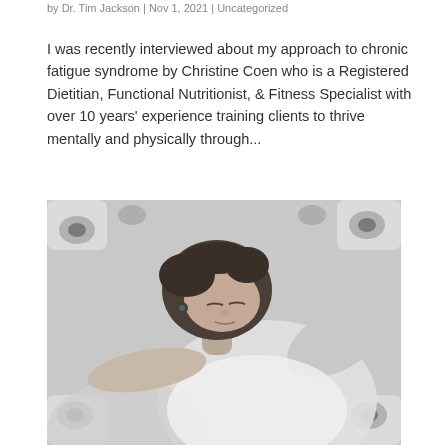by Dr. Tim Jackson | Nov 1, 2021 | Uncategorized
I was recently interviewed about my approach to chronic fatigue syndrome by Christine Coen who is a Registered Dietitian, Functional Nutritionist, & Fitness Specialist with over 10 years' experience training clients to thrive mentally and physically through...
[Figure (photo): Black and white photo of a woman lying down with short dark hair, wearing a white top, resting her head on a floral-patterned surface, appearing fatigued or sleeping]